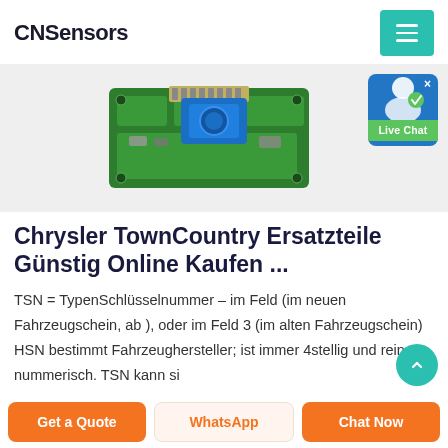CNSensors
[Figure (photo): Product photo: a green PCB circuit board with a blue component on top, partially visible. A Live Chat badge (blue with teal green label) is overlaid on the top right of the image area.]
Chrysler TownCountry Ersatzteile Günstig Online Kaufen ...
TSN = TypenSchlüsselnummer – im Feld (im neuen Fahrzeugschein, ab ), oder im Feld 3 (im alten Fahrzeugschein) HSN bestimmt Fahrzeughersteller; ist immer 4stellig und rein nummerisch. TSN kann si…
Get a Quote | WhatsApp | Chat Now